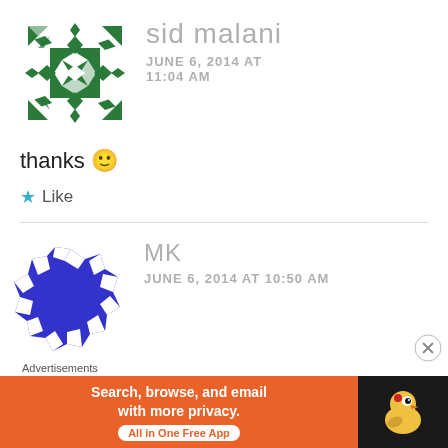[Figure (illustration): Green geometric avatar icon made of diamond/square patterns for user sid malani]
sid malani
JUNE 6, 2014 AT 11:04 AM
thanks 🙂
★ Like
[Figure (illustration): Blue and white geometric/checkered circular avatar icon for user MK]
MK
JUNE 6, 2014 AT 10:50 AM
Advertisements
[Figure (screenshot): DuckDuckGo advertisement banner: orange section says 'Search, browse, and email with more privacy. All in One Free App', dark section shows DuckDuckGo duck logo]